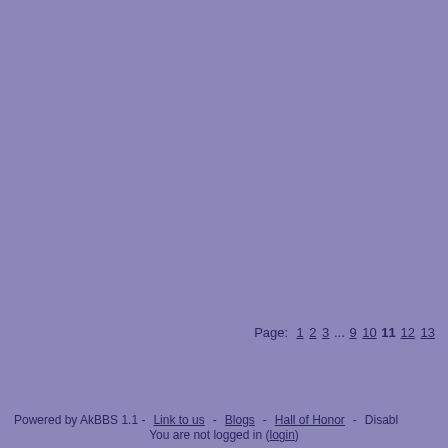Page: 1 2 3 ... 9 10 11 12 13
Powered by AkBBS 1.1 - Link to us - Blogs - Hall of Honor - Disabl... You are not logged in (login)